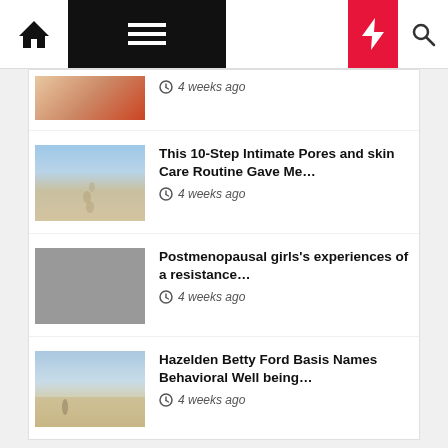Navigation bar with home, menu, moon, bolt, search icons
[Figure (screenshot): Partial thumbnail of food/gift item from previous article]
4 weeks ago
[Figure (photo): Beach with footprints in sand and blue sky]
This 10-Step Intimate Pores and skin Care Routine Gave Me…
4 weeks ago
[Figure (photo): Gray placeholder image]
Postmenopausal girls's experiences of a resistance…
4 weeks ago
[Figure (photo): Person on beach with blue sky and sand]
Hazelden Betty Ford Basis Names Behavioral Well being…
4 weeks ago
Categories